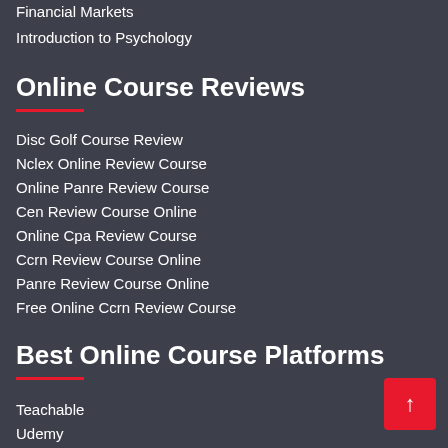Financial Markets
Introduction to Psychology
Online Course Reviews
Disc Golf Course Review
Nclex Online Review Course
Online Panre Review Course
Cen Review Course Online
Online Cpa Review Course
Ccrn Review Course Online
Panre Review Course Online
Free Online Ccrn Review Course
Best Online Course Platforms
Teachable
Udemy